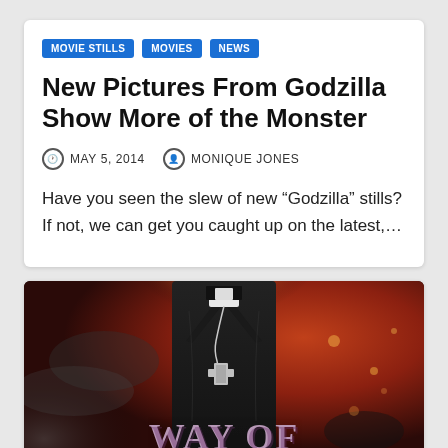MOVIE STILLS
MOVIES
NEWS
New Pictures From Godzilla Show More of the Monster
MAY 5, 2014   MONIQUE JONES
Have you seen the slew of new “Godzilla” stills? If not, we can get you caught up on the latest,…
[Figure (photo): Movie poster showing a figure in a dark suit with a priest collar and cross necklace against a fiery red/smoke background. Text reads WAY OF at the bottom.]